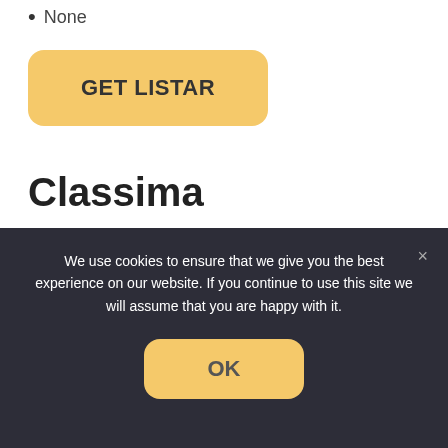None
[Figure (screenshot): GET LISTAR button — a rounded yellow button with bold dark text]
Classima
[Figure (screenshot): Classima WordPress theme website preview showing dark navigation bar with Classima logo, nav links (Home, Features, Functions, Footer), Buy Now button, and three dark image panels with 'Best Classified Listing' headline]
We use cookies to ensure that we give you the best experience on our website. If you continue to use this site we will assume that you are happy with it.
[Figure (screenshot): OK button — a rounded yellow button with 'OK' text, part of cookie consent dialog]